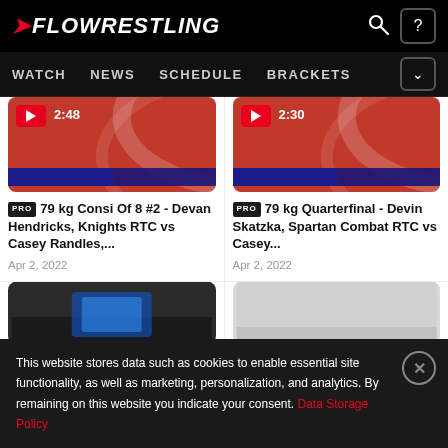FLOWRESTLING
WATCH NEWS SCHEDULE BRACKETS
[Figure (screenshot): Video thumbnail for 79 kg Consi Of 8 #2 match, red background, play button, duration 2:48]
PRO 79 kg Consi Of 8 #2 - Devan Hendricks, Knights RTC vs Casey Randles,...
Apr 2, 2022
[Figure (screenshot): Video thumbnail for 79 kg Quarterfinal match, red background, play button, duration 2:30]
PRO 79 kg Quarterfinal - Devin Skatzka, Spartan Combat RTC vs Casey...
Apr 2, 2022
[Figure (screenshot): Dark thumbnail showing wrestling arena with LED screens]
[Figure (screenshot): Light grey thumbnail showing wrestling mat]
This website stores data such as cookies to enable essential site functionality, as well as marketing, personalization, and analytics. By remaining on this website you indicate your consent. Data Storage Policy